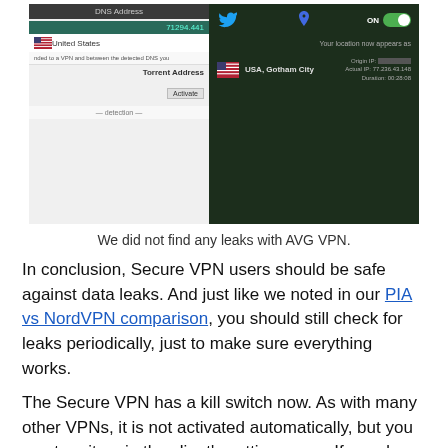[Figure (screenshot): Screenshot composite of a DNS/leak test tool on the left and an AVG VPN connected interface on the right showing USA, Gotham City with toggle ON and IP address details.]
We did not find any leaks with AVG VPN.
In conclusion, Secure VPN users should be safe against data leaks. And just like we noted in our PIA vs NordVPN comparison, you should still check for leaks periodically, just to make sure everything works.
The Secure VPN has a kill switch now. As with many other VPNs, it is not activated automatically, but you can turn it on in the client's settings area. If you do activate it, the kill switch will protect you if the connection to a VPN server fails.
The AVG Secure VPN also uses industry-standard